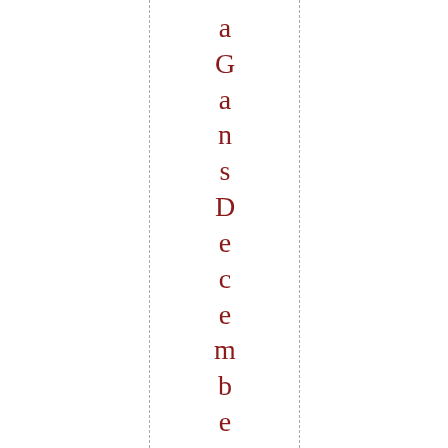a G a n s D e c e m b e r 1 5 . 2 0 2 0 a t 5 : 5